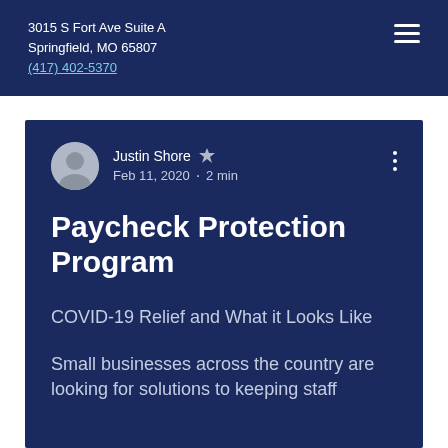3015 S Fort Ave Suite A
Springfield, MO 65807
(417) 402-5370
Justin Shore  Admin
Feb 11, 2020  ·  2 min
Paycheck Protection Program
COVID-19 Relief and What it Looks Like
Small businesses across the country are looking for solutions to keeping staff